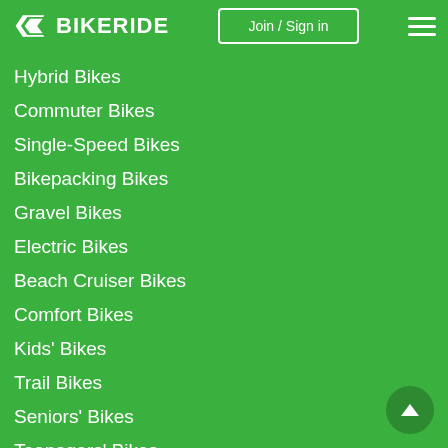BIKERIDE — Join / Sign in
Hybrid Bikes
Commuter Bikes
Single-Speed Bikes
Bikepacking Bikes
Gravel Bikes
Electric Bikes
Beach Cruiser Bikes
Comfort Bikes
Kids' Bikes
Trail Bikes
Seniors' Bikes
Teenagers' Bikes